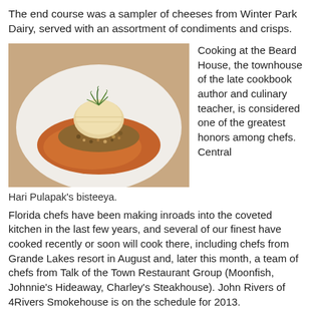The end course was a sampler of cheeses from Winter Park Dairy, served with an assortment of condiments and crisps.
[Figure (photo): A plate of Hari Pulapak's bisteeya — a round savory pastry topped with fresh herbs, served on a bed of grain mixture with a rich orange-brown sauce, on a white plate.]
Hari Pulapak's bisteeya.
Cooking at the Beard House, the townhouse of the late cookbook author and culinary teacher, is considered one of the greatest honors among chefs. Central Florida chefs have been making inroads into the coveted kitchen in the last few years, and several of our finest have cooked recently or soon will cook there, including chefs from Grande Lakes resort in August and, later this month, a team of chefs from Talk of the Town Restaurant Group (Moonfish, Johnnie's Hideaway, Charley's Steakhouse). John Rivers of 4Rivers Smokehouse is on the schedule for 2013.